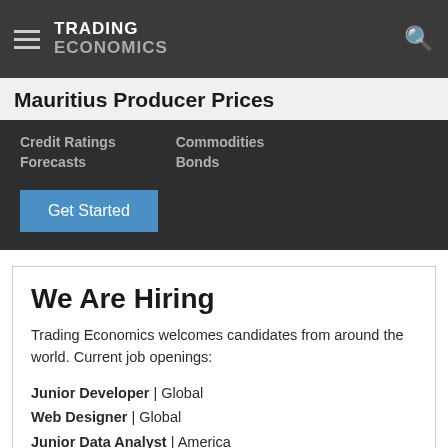TRADING ECONOMICS
Mauritius Producer Prices
Credit Ratings   Commodities
Forecasts   Bonds
Get Started
We Are Hiring
Trading Economics welcomes candidates from around the world. Current job openings:
Junior Developer | Global
Web Designer | Global
Junior Data Analyst | America
Systems Monitoring | Asia